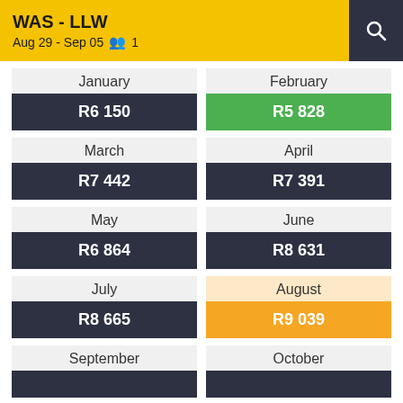WAS - LLW
Aug 29 - Sep 05  1
| Month | Price |
| --- | --- |
| January | R6 150 |
| February | R5 828 |
| March | R7 442 |
| April | R7 391 |
| May | R6 864 |
| June | R8 631 |
| July | R8 665 |
| August | R9 039 |
| September |  |
| October |  |